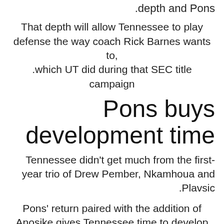.depth and Pons
That depth will allow Tennessee to play defense the way coach Rick Barnes wants to, which UT did during that SEC title campaign.
Pons buys development time
Tennessee didn't get much from the first-year trio of Drew Pember, Nkamhoua and Plavsic.
Pons' return paired with the addition of Anosike gives Tennessee time to develop the young big men that it did not have last season, when the trio was pushed into